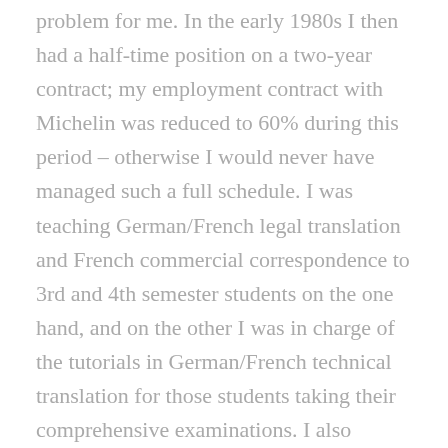problem for me. In the early 1980s I then had a half-time position on a two-year contract; my employment contract with Michelin was reduced to 60% during this period – otherwise I would never have managed such a full schedule. I was teaching German/French legal translation and French commercial correspondence to 3rd and 4th semester students on the one hand, and on the other I was in charge of the tutorials in German/French technical translation for those students taking their comprehensive examinations. I also supervised a number of diploma theses. I greatly enjoyed working with the students. Unfortunately there are hardly any permanent positions at German universities. Teaching people,